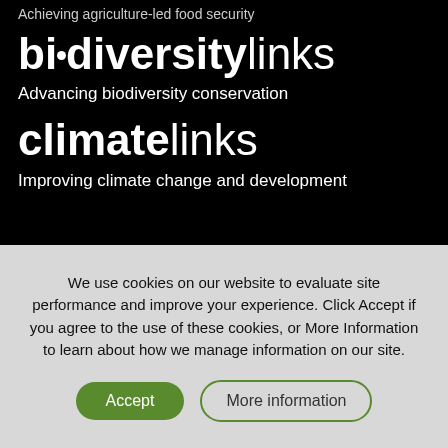Achieving agriculture-led food security
biodiversitylinks
Advancing biodiversity conservation
climatelinks
Improving climate change and development
We use cookies on our website to evaluate site performance and improve your experience. Click Accept if you agree to the use of these cookies, or More Information to learn about how we manage information on our site.